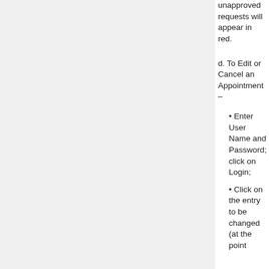unapproved requests will appear in red.
d. To Edit or Cancel an Appointment –
• Enter User Name and Password; click on Login;
• Click on the entry to be changed (at the point